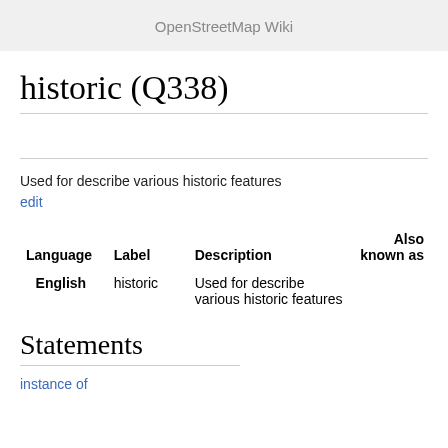OpenStreetMap Wiki
historic (Q338)
Used for describe various historic features
edit
| Language | Label | Description | Also known as |
| --- | --- | --- | --- |
| English | historic | Used for describe various historic features |  |
Statements
instance of